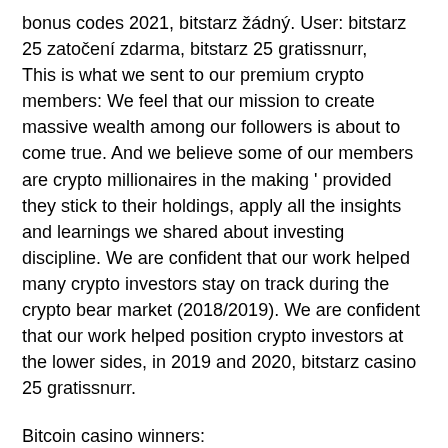bonus codes 2021, bitstarz žádný. User: bitstarz 25 zatočení zdarma, bitstarz 25 gratissnurr,
This is what we sent to our premium crypto members: We feel that our mission to create massive wealth among our followers is about to come true. And we believe some of our members are crypto millionaires in the making ' provided they stick to their holdings, apply all the insights and learnings we shared about investing discipline. We are confident that our work helped many crypto investors stay on track during the crypto bear market (2018/2019). We are confident that our work helped position crypto investors at the lower sides, in 2019 and 2020, bitstarz casino 25 gratissnurr.
Bitcoin casino winners:
Silver Lion - 2.2 eth
Diamond Dazzle - 177.1 dog
Tina Tincan - 100.3 eth (partial)